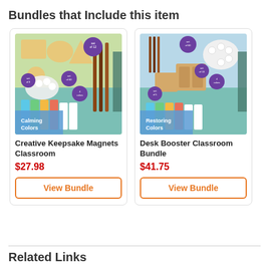Bundles that Include this item
[Figure (photo): Product image for Creative Keepsake Magnets Classroom bundle showing art supplies, palettes, shapes, brushes and paints with 'Calming Colors' label and MOODS branding]
Creative Keepsake Magnets Classroom
$27.98
View Bundle
[Figure (photo): Product image for Desk Booster Classroom Bundle showing wooden organizer boxes, paint palette, brushes, paints with 'Restoring Colors' label and MOODS branding]
Desk Booster Classroom Bundle
$41.75
View Bundle
Related Links